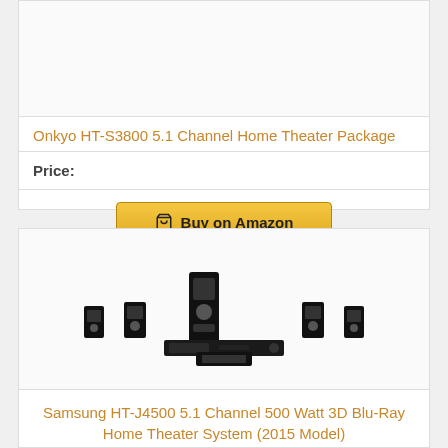[Figure (other): Empty image area for Onkyo HT-S3800 product]
Onkyo HT-S3800 5.1 Channel Home Theater Package
Price:
[Figure (other): Buy on Amazon button with shopping cart icon]
[Figure (photo): Samsung HT-J4500 5.1 Channel home theater system product photo showing speakers and subwoofer arrangement]
Samsung HT-J4500 5.1 Channel 500 Watt 3D Blu-Ray Home Theater System (2015 Model)